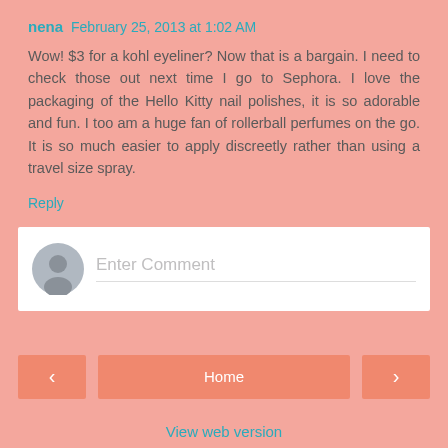nena  February 25, 2013 at 1:02 AM
Wow! $3 for a kohl eyeliner? Now that is a bargain. I need to check those out next time I go to Sephora. I love the packaging of the Hello Kitty nail polishes, it is so adorable and fun. I too am a huge fan of rollerball perfumes on the go. It is so much easier to apply discreetly rather than using a travel size spray.
Reply
[Figure (other): Comment input box with avatar and Enter Comment placeholder text]
[Figure (other): Navigation row with left arrow, Home button, and right arrow]
View web version
Powered by Blogger.